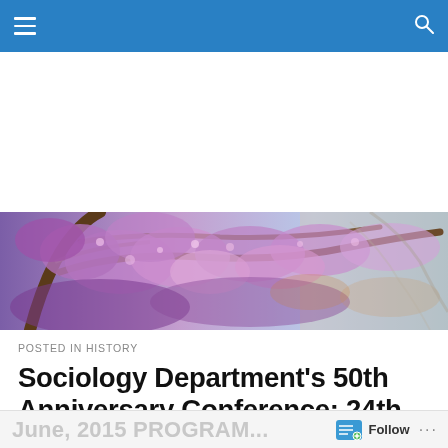Navigation bar with hamburger menu and search icon
[Figure (photo): Wide panoramic banner photograph of purple/pink cherry blossom or jacaranda trees with branches spreading across the full width, purple-violet flowers against a sky background]
POSTED IN HISTORY
Sociology Department's 50th Anniversary Conference: 24th